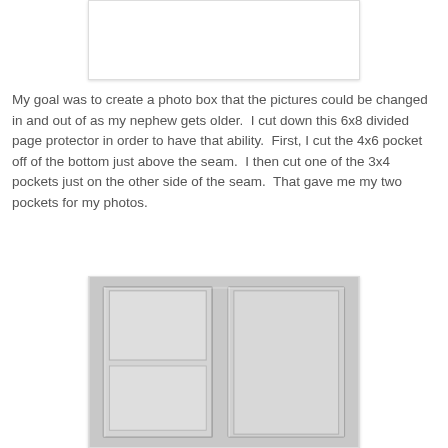[Figure (photo): Top portion of a cropped photo, mostly white/blank visible area with a light border and shadow]
My goal was to create a photo box that the pictures could be changed in and out of as my nephew gets older.  I cut down this 6x8 divided page protector in order to have that ability.  First, I cut the 4x6 pocket off of the bottom just above the seam.  I then cut one of the 3x4 pockets just on the other side of the seam.  That gave me my two pockets for my photos.
[Figure (photo): Photo of a clear plastic divided page protector showing pocket sections with visible seams and compartments, gray-toned background]